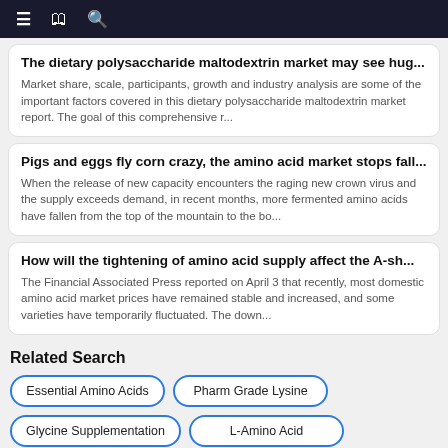Navigation bar with menu, bookmark, and search icons
The dietary polysaccharide maltodextrin market may see hug...
Market share, scale, participants, growth and industry analysis are some of the important factors covered in this dietary polysaccharide maltodextrin market report. The goal of this comprehensive r...
Pigs and eggs fly corn crazy, the amino acid market stops fall...
When the release of new capacity encounters the raging new crown virus and the supply exceeds demand, in recent months, more fermented amino acids have fallen from the top of the mountain to the bo...
How will the tightening of amino acid supply affect the A-sh...
The Financial Associated Press reported on April 3 that recently, most domestic amino acid market prices have remained stable and increased, and some varieties have temporarily fluctuated. The down...
Related Search
Essential Amino Acids
Pharm Grade Lysine
Glycine Supplementation
L-Amino Acid